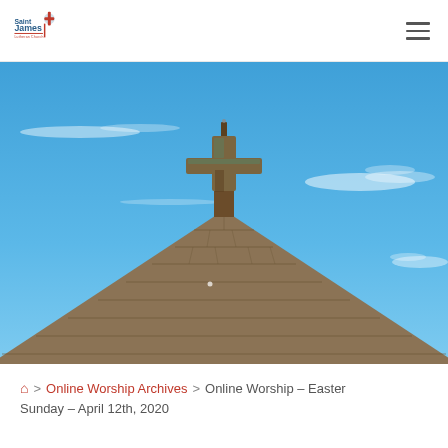Saint James Lutheran Church
[Figure (photo): Church steeple with a wooden cross against a bright blue sky with wispy white clouds. The steeple has a pyramidal shingled roof with the cross atop it.]
🏠 > Online Worship Archives > Online Worship – Easter Sunday – April 12th, 2020